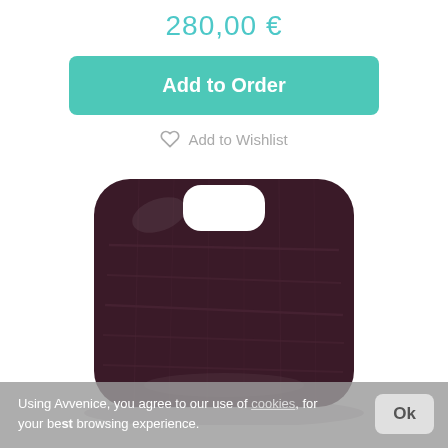280,00 €
Add to Order
Add to Wishlist
[Figure (photo): Dark purple/brown crocodile leather iPhone case shown from the back, with rounded corners and a camera cutout at the top. The case sits on a white surface with a slight reflection visible below.]
Using Avvenice, you agree to our use of cookies, for your best browsing experience.